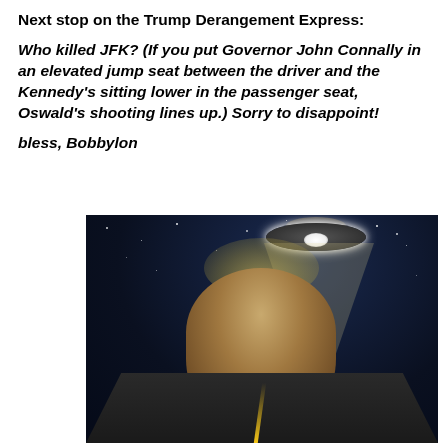Next stop on the Trump Derangement Express:
Who killed JFK? (If you put Governor John Connally in an elevated jump seat between the driver and the Kennedy's sitting lower in the passenger seat, Oswald's shooting lines up.) Sorry to disappoint!
bless, Bobbylon
[Figure (photo): A humorous composite photo showing Donald Trump standing on a dark road at night with a UFO above him shining a beam of light down onto his distinctive blonde hair, which appears to be floating upward into the beam. The night sky has stars and the scene is lit dramatically by the UFO's beam.]